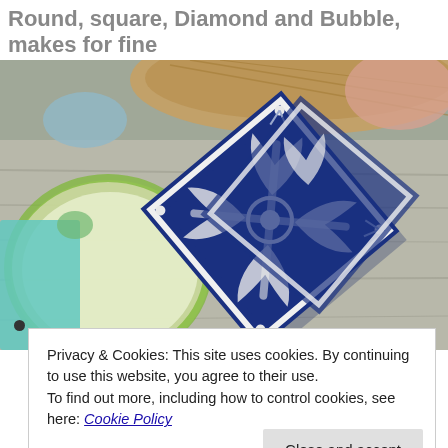Round, square, Diamond and Bubble, makes for fine trouble-
[Figure (photo): Overhead photo of decorative blue and white patterned square plates arranged on a green-rimmed plate and grey wooden table, with a wicker basket in the background and a teal napkin on the left.]
Privacy & Cookies: This site uses cookies. By continuing to use this website, you agree to their use.
To find out more, including how to control cookies, see here: Cookie Policy